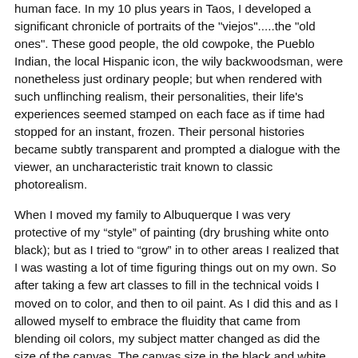human face. In my 10 plus years in Taos, I developed a significant chronicle of portraits of the "viejos".....the "old ones". These good people, the old cowpoke, the Pueblo Indian, the local Hispanic icon, the wily backwoodsman, were nonetheless just ordinary people; but when rendered with such unflinching realism, their personalities, their life's experiences seemed stamped on each face as if time had stopped for an instant, frozen. Their personal histories became subtly transparent and prompted a dialogue with the viewer, an uncharacteristic trait known to classic photorealism.
When I moved my family to Albuquerque I was very protective of my “style” of painting (dry brushing white onto black); but as I tried to “grow” in to other areas I realized that I was wasting a lot of time figuring things out on my own. So after taking a few art classes to fill in the technical voids I moved on to color, and then to oil paint. As I did this and as I allowed myself to embrace the fluidity that came from blending oil colors, my subject matter changed as did the size of the canvas. The canvas size in the black and white and the color “portrait” era ranged from 32″ x 40″ up to 40″ x 50″.
As I transitioned to oil paint, enlarged florals and reflective (glass) surfaces proved to be an exciting springboard for transformation…..and the size of the work went through a revolution as well….from 72″ x 76″ up to the largest work at 5ft x 10ft.Along with that revolution in style and size, came an evolution in my creative direction. On the 23rd of November of 2011…..after 42 years of sorting through the personal memories, as well as reflecting on the impact that a